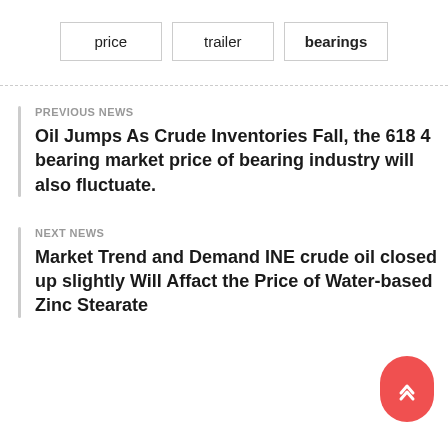price
trailer
bearings
PREVIOUS NEWS
Oil Jumps As Crude Inventories Fall, the 618 4 bearing market price of bearing industry will also fluctuate.
NEXT NEWS
Market Trend and Demand INE crude oil closed up slightly Will Affact the Price of Water-based Zinc Stearate